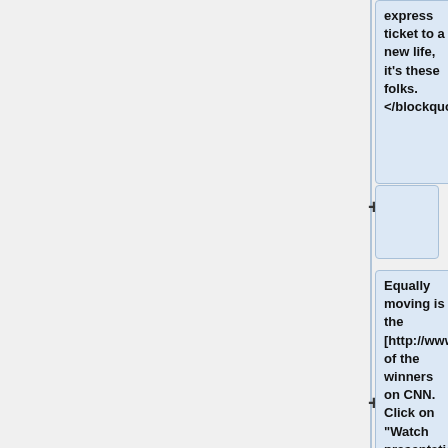express ticket to a new life, it's these folks. </blockquote>
Equally moving is the [http://www.cnn.com/2006/US/02/22/powerball.winner.ap/interview] of the winners on CNN. Click on "Watch presentation of big checks" in the article). (You have to watch a short advertisement first).